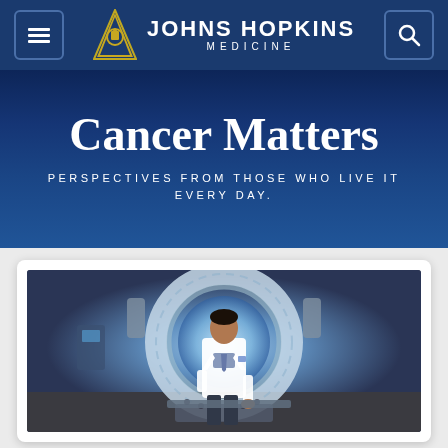Johns Hopkins Medicine — navigation bar with hamburger menu and search icon
Cancer Matters
PERSPECTIVES FROM THOSE WHO LIVE IT EVERY DAY.
[Figure (photo): A doctor in a white lab coat standing in front of a large circular radiation/proton therapy machine with glowing blue light, in a clinical setting]